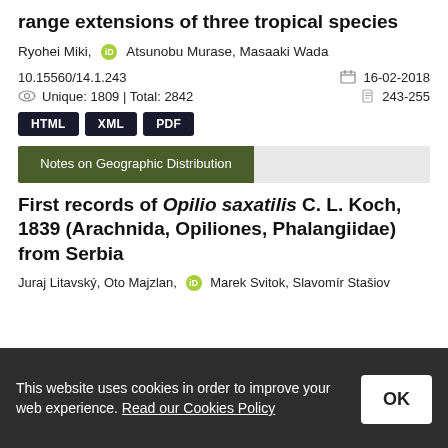range extensions of three tropical species
Ryohei Miki, [ORCID] Atsunobu Murase, Masaaki Wada
10.15560/14.1.243
16-02-2018
Unique: 1809 | Total: 2842
243-255
HTML  XML  PDF
Notes on Geographic Distribution
First records of Opilio saxatilis C. L. Koch, 1839 (Arachnida, Opiliones, Phalangiidae) from Serbia
Juraj Litavský, Oto Majzlan, [ORCID] Marek Svitok, Slavomír Stašiov
This website uses cookies in order to improve your web experience. Read our Cookies Policy
OK